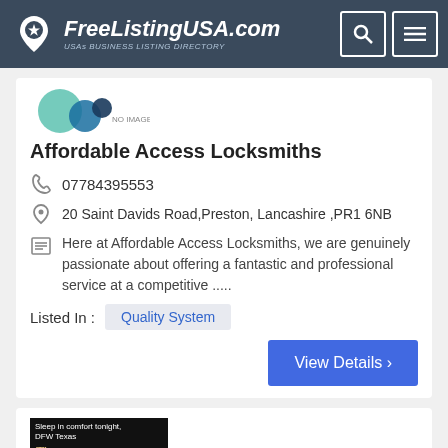FreeListingUSA.com — USAs BUSINESS LISTING DIRECTORY
[Figure (logo): FreeListingUSA.com logo with map pin icon and star]
[Figure (illustration): Partial decorative image with teal circles and NO IMAGE placeholder text]
Affordable Access Locksmiths
07784395553
20 Saint Davids Road,Preston, Lancashire ,PR1 6NB
Here at Affordable Access Locksmiths, we are genuinely passionate about offering a fantastic and professional service at a competitive .....
Listed In :  Quality System
View Details ›
[Figure (photo): Partial advertisement image: Sleep in comfort tonight, DFW Texas — CALL TODAY]